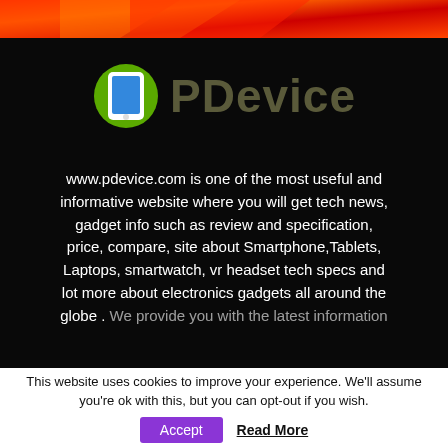[Figure (illustration): Orange and red abstract banner/image strip at the top of the page]
[Figure (logo): PDevice logo: green circle with white-framed blue tablet icon, followed by 'PDevice' text in dark olive/grey on black background]
www.pdevice.com is one of the most useful and informative website where you will get tech news, gadget info such as review and specification, price, compare, site about Smartphone,Tablets, Laptops, smartwatch, vr headset tech specs and lot more about electronics gadgets all around the globe . We provide you with the latest information
This website uses cookies to improve your experience. We'll assume you're ok with this, but you can opt-out if you wish.
Accept   Read More